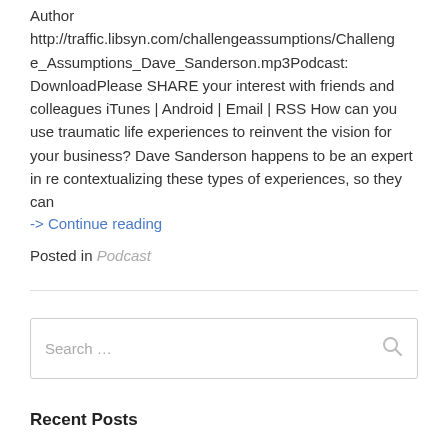Author http://traffic.libsyn.com/challengeassumptions/Challenge_Assumptions_Dave_Sanderson.mp3Podcast: DownloadPlease SHARE your interest with friends and colleagues iTunes | Android | Email | RSS How can you use traumatic life experiences to reinvent the vision for your business? Dave Sanderson happens to be an expert in re contextualizing these types of experiences, so they can
-> Continue reading
Posted in Podcast
Search ...
Recent Posts